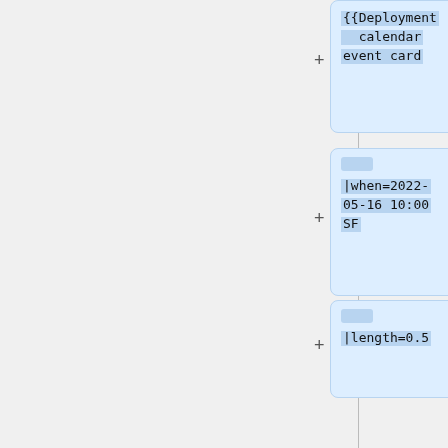{{Deployment calendar event card
|when=2022-05-16 10:00 SF
|length=0.5
|window=Wikidata Query Service weekly deploy
|who= {{ircnick|ryankemper|Ryan}}